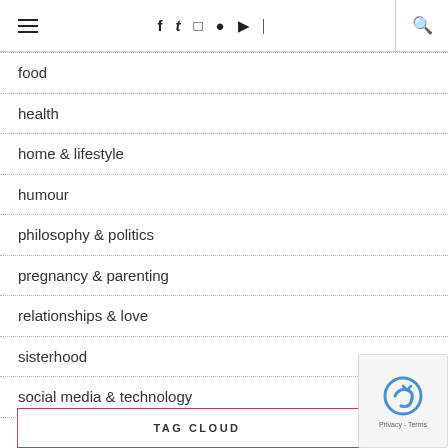Navigation header with hamburger menu, social icons (f, twitter, instagram, pinterest, youtube, rss), and search icon
food
health
home & lifestyle
humour
philosophy & politics
pregnancy & parenting
relationships & love
sisterhood
social media & technology
travel
TAG CLOUD
[Figure (other): reCAPTCHA privacy badge with logo and Privacy - Terms text]